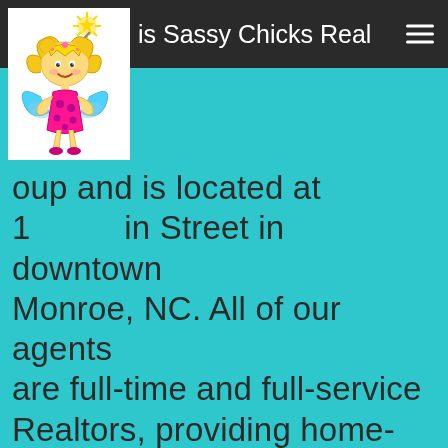is Sassy Chicks Realty Group and is located at 1... in Street in downtown Monroe, NC.
[Figure (illustration): Cartoon fairy girl logo with blonde curly hair, pink polka-dot dress, wings, crown, and wand with star, on white background]
is Sassy Chicks Realty Group and is located at 1... in Street in downtown Monroe, NC. All of our agents are full-time and full-service Realtors, providing home-sellers and buyers with professional, responsive and attentive real estate services.